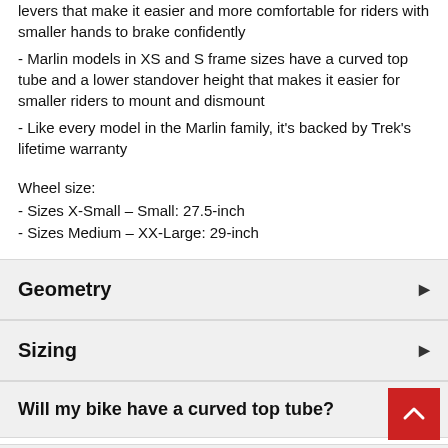levers that make it easier and more comfortable for riders with smaller hands to brake confidently
- Marlin models in XS and S frame sizes have a curved top tube and a lower standover height that makes it easier for smaller riders to mount and dismount
- Like every model in the Marlin family, it's backed by Trek's lifetime warranty
Wheel size:
- Sizes X-Small – Small: 27.5-inch
- Sizes Medium – XX-Large: 29-inch
Geometry
Sizing
Will my bike have a curved top tube?
Due to supply-chain issues, Specs are